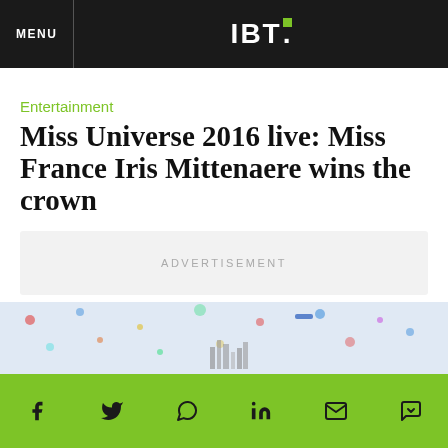MENU | IBT.
Entertainment
Miss Universe 2016 live: Miss France Iris Mittenaere wins the crown
ADVERTISEMENT
By Simi John On 1/30/17 At 8:10 AM
[Figure (photo): Partial image of what appears to be a cityscape/map illustration with colored dots]
Social share bar with icons: Facebook, Twitter, WhatsApp, LinkedIn, Email, Messenger